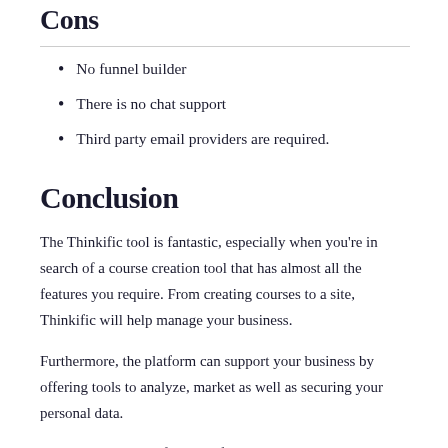Cons
No funnel builder
There is no chat support
Third party email providers are required.
Conclusion
The Thinkific tool is fantastic, especially when you're in search of a course creation tool that has almost all the features you require. From creating courses to a site, Thinkific will help manage your business.
Furthermore, the platform can support your business by offering tools to analyze, market as well as securing your personal data.
They also provide a free plan for those who are just beginning this kind of business. If you're a part of a larger institution or academy, they also provide custom plans to meet your needs.